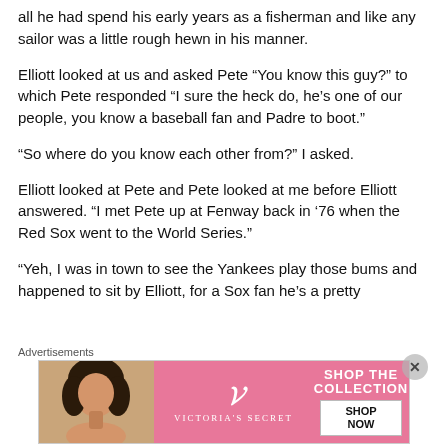all he had spend his early years as a fisherman and like any sailor was a little rough hewn in his manner.
Elliott looked at us and asked Pete “You know this guy?” to which Pete responded “I sure the heck do, he’s one of our people, you know a baseball fan and Padre to boot.”
“So where do you know each other from?” I asked.
Elliott looked at Pete and Pete looked at me before Elliott answered. “I met Pete up at Fenway back in ‘76 when the Red Sox went to the World Series.”
“Yeh, I was in town to see the Yankees play those bums and happened to sit by Elliott, for a Sox fan he’s a pretty
Advertisements
[Figure (photo): Victoria’s Secret advertisement banner showing a woman with curly hair, VS logo, text SHOP THE COLLECTION, and SHOP NOW button on pink background.]